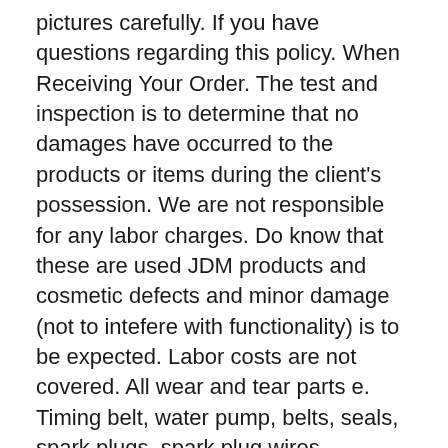pictures carefully. If you have questions regarding this policy. When Receiving Your Order. The test and inspection is to determine that no damages have occurred to the products or items during the client's possession. We are not responsible for any labor charges. Do know that these are used JDM products and cosmetic defects and minor damage (not to intefere with functionality) is to be expected. Labor costs are not covered. All wear and tear parts e. Timing belt, water pump, belts, seals, spark plugs, spark plug wires, transmission seals, etc. Damage to oil pans cannot be covered. Due to the process in which we import; many engines will have dents and imperfections on the oil pan at the time of listing. You will receive the item as shown in the pictures displayed. Some products may require additional components to be fully functional. Before purchasing